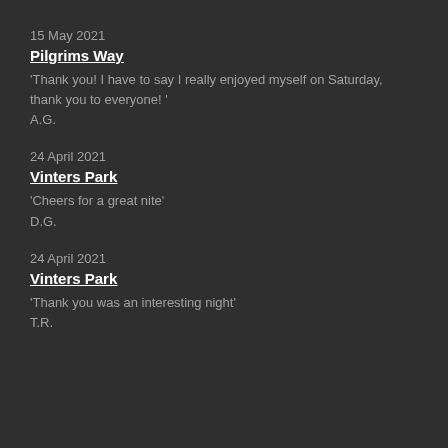15 May 2021
Pilgrims Way
'Thank you! I have to say I really enjoyed myself on Saturday, thank you to everyone! '
A.G.
24 April 2021
Vinters Park
'Cheers for a great nite'
D.G.
24 April 2021
Vinters Park
'Thank you was an interesting night'
T.R.